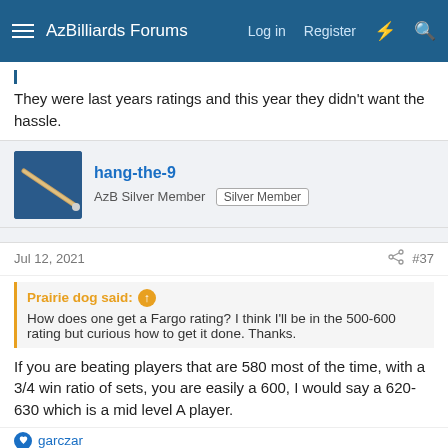AzBilliards Forums  Log in  Register
They were last years ratings and this year they didn't want the hassle.
hang-the-9
AzB Silver Member  Silver Member
Jul 12, 2021  #37
Prairie dog said: How does one get a Fargo rating? I think I'll be in the 500-600 rating but curious how to get it done. Thanks.
If you are beating players that are 580 most of the time, with a 3/4 win ratio of sets, you are easily a 600, I would say a 620-630 which is a mid level A player.
garczar